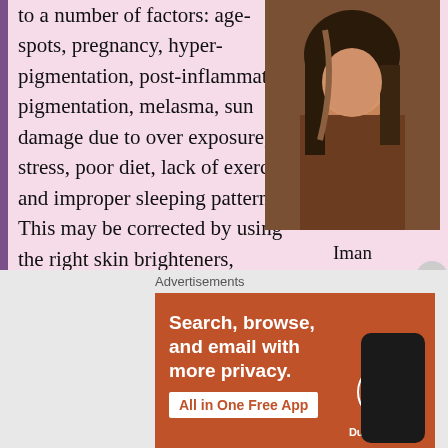to a number of factors: age-spots, pregnancy, hyper-pigmentation, post-inflammatory pigmentation, melasma, sun damage due to over exposure, stress, poor diet, lack of exercise and improper sleeping patterns. This may be corrected by using the right skin brighteners, vitamin/supplements and eating a proper diet.
[Figure (photo): Photo of Iman, a woman with long dark hair wearing a brown top]
Iman
Healthier alternatives to Hydroquinone
Advertisements
[Figure (screenshot): DuckDuckGo advertisement banner: Search, browse, and email with more privacy. All in One Free App.]